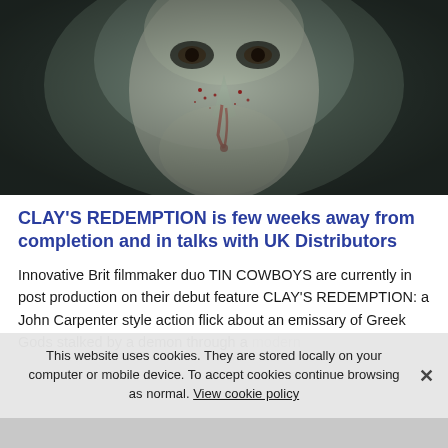[Figure (photo): Close-up photo of a man's face with blood from nose, pale/green-tinted skin with blood spatter marks, dramatic lighting on dark background]
CLAY'S REDEMPTION is few weeks away from completion and in talks with UK Distributors
Innovative Brit filmmaker duo TIN COWBOYS are currently in post production on their debut feature CLAY'S REDEMPTION: a John Carpenter style action flick about an emissary of Greek Gods stalked by a demon through a modern
This website uses cookies. They are stored locally on your computer or mobile device. To accept cookies continue browsing as normal. View cookie policy